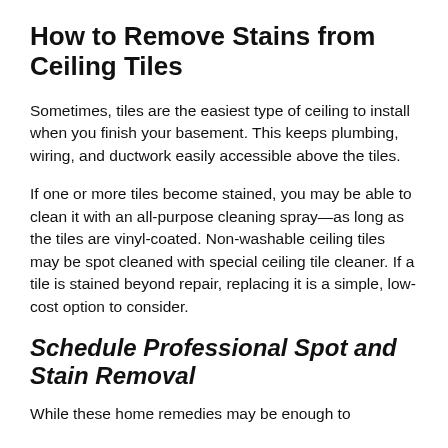How to Remove Stains from Ceiling Tiles
Sometimes, tiles are the easiest type of ceiling to install when you finish your basement. This keeps plumbing, wiring, and ductwork easily accessible above the tiles.
If one or more tiles become stained, you may be able to clean it with an all-purpose cleaning spray—as long as the tiles are vinyl-coated. Non-washable ceiling tiles may be spot cleaned with special ceiling tile cleaner. If a tile is stained beyond repair, replacing it is a simple, low-cost option to consider.
Schedule Professional Spot and Stain Removal
While these home remedies may be enough to